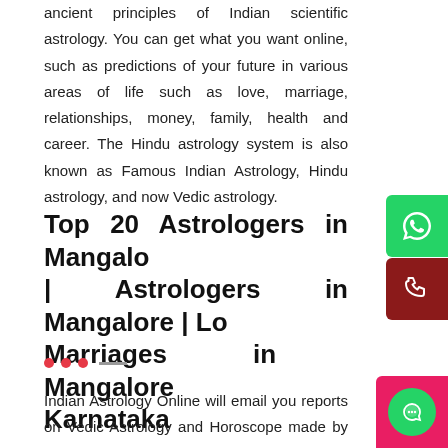ancient principles of Indian scientific astrology. You can get what you want online, such as predictions of your future in various areas of life such as love, marriage, relationships, money, family, health and career. The Hindu astrology system is also known as Famous Indian Astrology, Hindu astrology, and now Vedic astrology.
Top 20 Astrologers in Mangalore | Astrologers in Mangalore | Lo Marriages in Mangalore Karnataka
Indian Astrology Online will email you reports on Vedic Astrology and Horoscope made by skilled astrologers in about 3-5 working days. Their predictions are based on the science of the moon Online astro...